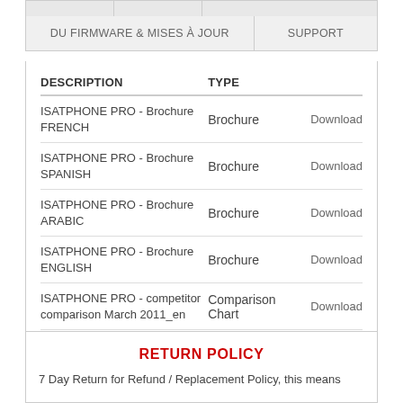| DESCRIPTION | TYPE |  |
| --- | --- | --- |
| ISATPHONE PRO - Brochure FRENCH | Brochure | Download |
| ISATPHONE PRO - Brochure SPANISH | Brochure | Download |
| ISATPHONE PRO - Brochure ARABIC | Brochure | Download |
| ISATPHONE PRO - Brochure ENGLISH | Brochure | Download |
| ISATPHONE PRO - competitor comparison March 2011_en | Comparison Chart | Download |
RETURN POLICY
7 Day Return for Refund / Replacement Policy, this means